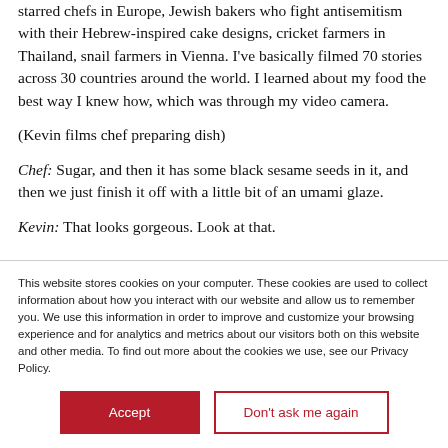starred chefs in Europe, Jewish bakers who fight antisemitism with their Hebrew-inspired cake designs, cricket farmers in Thailand, snail farmers in Vienna. I've basically filmed 70 stories across 30 countries around the world. I learned about my food the best way I knew how, which was through my video camera.
(Kevin films chef preparing dish)
Chef: Sugar, and then it has some black sesame seeds in it, and then we just finish it off with a little bit of an umami glaze.
Kevin: That looks gorgeous. Look at that.
This website stores cookies on your computer. These cookies are used to collect information about how you interact with our website and allow us to remember you. We use this information in order to improve and customize your browsing experience and for analytics and metrics about our visitors both on this website and other media. To find out more about the cookies we use, see our Privacy Policy.
Accept
Don't ask me again